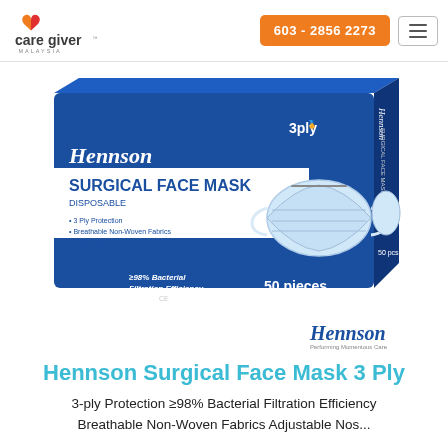caregiver MALAYSIA | 603 - 2856 2273
[Figure (photo): Box of Hennson Surgical Face Mask Disposable, 3-ply, 50 pieces, showing a blue box with a face mask image. Features listed: 3 Ply Protection, Breathable Non-Woven Fabrics, Adjustable Nose Bridge, Elastic Earloop, Quality Assurance. ≥98% Bacterial Filtration Efficiency.]
[Figure (logo): Hennson brand logo in cursive script with tagline 'Performing Momentous Care']
Hennson Surgical Face Mask 3 Ply
3-ply Protection ≥98% Bacterial Filtration Efficiency Breathable Non-Woven Fabrics Adjustable Nos...